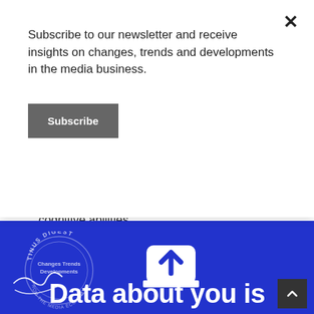Subscribe to our newsletter and receive insights on changes, trends and developments in the media business.
Subscribe
cognitive abilities.
[Figure (logo): Tinus Digest circular stamp logo with text 'Changes Trends Developments' and a signature]
[Figure (illustration): White share/export icon (arrow coming out of a rounded square on a platform) on blue background]
Data about you is